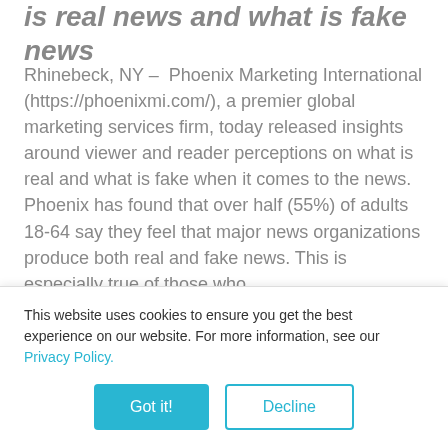is real news and what is fake news
Rhinebeck, NY – Phoenix Marketing International (https://phoenixmi.com/), a premier global marketing services firm, today released insights around viewer and reader perceptions on what is real and what is fake when it comes to the news. Phoenix has found that over half (55%) of adults 18-64 say they feel that major news organizations produce both real and fake news. This is especially true of those who
This website uses cookies to ensure you get the best experience on our website. For more information, see our Privacy Policy.
Got it!
Decline